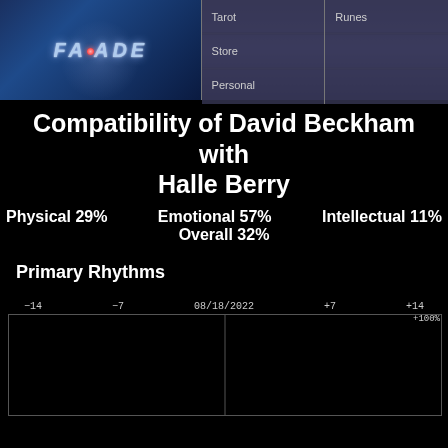[Figure (logo): Facade website header with logo showing FACADE text with glowing red dot, and navigation links for Tarot, Runes, Store, Personal]
Compatibility of David Beckham with Halle Berry
Physical 29%   Emotional 57%   Intellectual 11%   Overall 32%
Primary Rhythms
[Figure (continuous-plot): Biorhythm chart showing Primary Rhythms over time from -14 to +14 days centered on 08/18/2022, with +100% marker. Chart area is mostly black with a vertical center line.]